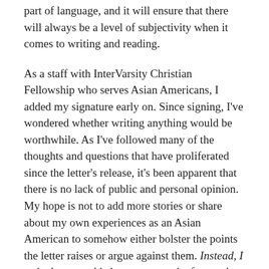part of language, and it will ensure that there will always be a level of subjectivity when it comes to writing and reading.
As a staff with InterVarsity Christian Fellowship who serves Asian Americans, I added my signature early on. Since signing, I've wondered whether writing anything would be worthwhile. As I've followed many of the thoughts and questions that have proliferated since the letter's release, it's been apparent that there is no lack of public and personal opinion. My hope is not to add more stories or share about my own experiences as an Asian American to somehow either bolster the points the letter raises or argue against them. Instead, I write because this is an opportunity for us, the people of God, to grow together in Christ as one body with many different parts.